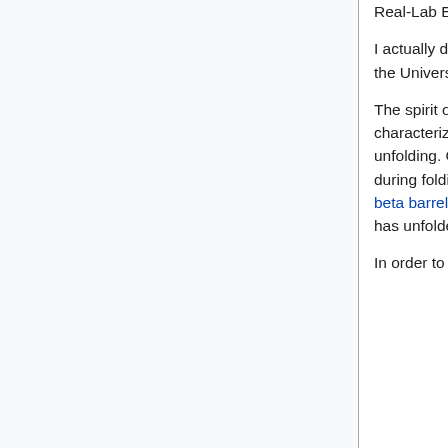Real-Lab Example:
I actually did this sort of experiment for a microdrop experiment that I was working on at the University of Illinois, Urbana-Champaign.
The spirit of the project, done in Dr. Martin Gruebel's lab, was to find a way to characterize a single protein (a variation on GFP, green-fluorescent protein) folding and unfolding. One of the interesting parts of this GFP is that the fluorophore remains intact during folding and unfolding, but fluorescence is quenched upon entry of water into the beta barrel that the fluorophore is residing in. This makes it clear to tell when the protein has unfolded.
In order to study the folding and unfolding characteristics, Dr. Gruebele...